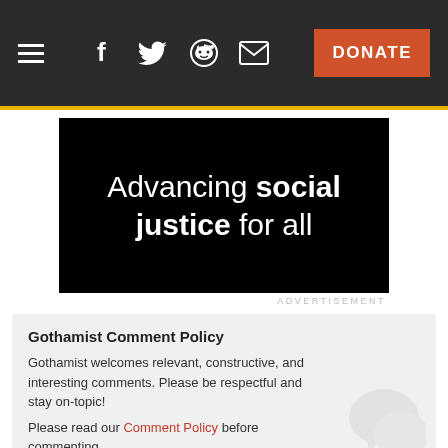Navigation bar with hamburger menu, social icons (Facebook, Twitter, Reddit, Email), and DONATE button
[Figure (illustration): Black banner advertisement with white text reading 'Advancing social justice for all']
ADVERTISEMENT
Gothamist Comment Policy
Gothamist welcomes relevant, constructive, and interesting comments. Please be respectful and stay on-topic!
Please read our Comment Policy before commenting.